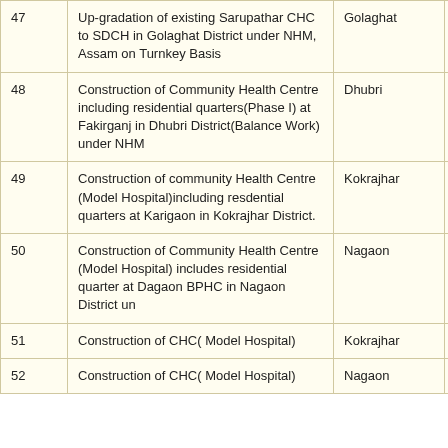| # | Description | District | Status |
| --- | --- | --- | --- |
| 47 | Up-gradation of existing Sarupathar CHC to SDCH in Golaghat District under NHM, Assam on Turnkey Basis | Golaghat | Work Order |
| 48 | Construction of Community Health Centre including residential quarters(Phase I) at Fakirganj in Dhubri District(Balance Work) under NHM | Dhubri |  |
| 49 | Construction of community Health Centre (Model Hospital)including resdential quarters at Karigaon in Kokrajhar District. | Kokrajhar |  |
| 50 | Construction of Community Health Centre (Model Hospital) includes residential quarter at Dagaon BPHC in Nagaon District un | Nagaon |  |
| 51 | Construction of CHC( Model Hospital) | Kokrajhar |  |
| 52 | Construction of CHC( Model Hospital) | Nagaon |  |